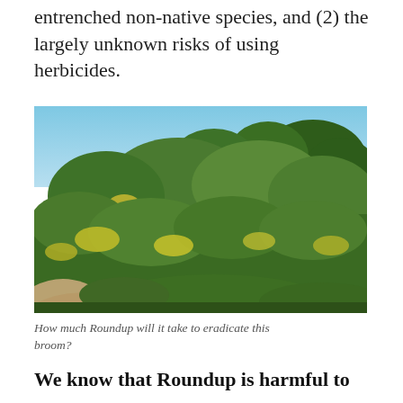entrenched non-native species, and (2) the largely unknown risks of using herbicides.
[Figure (photo): A hillside densely covered with broom (invasive shrubs) showing yellow flowers mixed with green foliage and taller trees behind, with a dirt path visible at the lower left.]
How much Roundup will it take to eradicate this broom?
We know that Roundup is harmful to